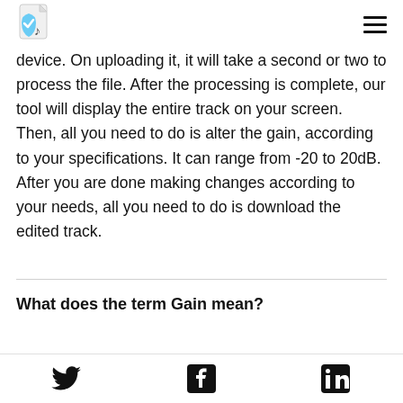[Figure (logo): App logo: shield with checkmark and music note, on a document/file icon background]
[Figure (other): Hamburger menu icon (three horizontal lines)]
device. On uploading it, it will take a second or two to process the file. After the processing is complete, our tool will display the entire track on your screen. Then, all you need to do is alter the gain, according to your specifications. It can range from -20 to 20dB. After you are done making changes according to your needs, all you need to do is download the edited track.
What does the term Gain mean?
Gain- It allows you to improve the loudness of an audio
Twitter | Facebook | LinkedIn social icons